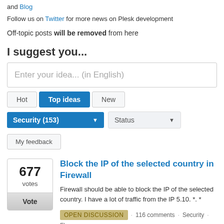and Blog
Follow us on Twitter for more news on Plesk development
Off-topic posts will be removed from here
I suggest you...
Enter your idea... (in English)
Hot | Top ideas | New
Security (153) | Status
My feedback
677 votes
Block the IP of the selected country in Firewall
Firewall should be able to block the IP of the selected country. I have a lot of traffic from the IP 5.10. *. *
OPEN DISCUSSION · 116 comments · Security · Flag idea as inappropriate...